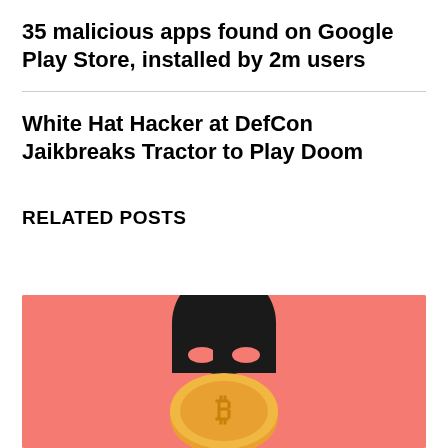35 malicious apps found on Google Play Store, installed by 2m users
White Hat Hacker at DefCon Jaikbreaks Tractor to Play Doom
RELATED POSTS
[Figure (illustration): Illustration of a masked burglar figure above a Bitcoin coin on a salmon/pink background]